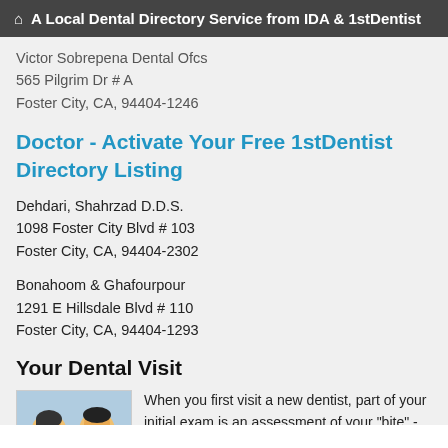A Local Dental Directory Service from IDA & 1stDentist
Victor Sobrepena Dental Ofcs
565 Pilgrim Dr # A
Foster City, CA, 94404-1246
Doctor - Activate Your Free 1stDentist Directory Listing
Dehdari, Shahrzad D.D.S.
1098 Foster City Blvd # 103
Foster City, CA, 94404-2302
Bonahoom & Ghafourpour
1291 E Hillsdale Blvd # 110
Foster City, CA, 94404-1293
Your Dental Visit
[Figure (photo): Photo of a smiling Asian family — a woman, a man, and a small child]
When you first visit a new dentist, part of your initial exam is an assessment of your "bite" - the way teeth meet as the jaws close. Later, after a filling or placement of a dental crown